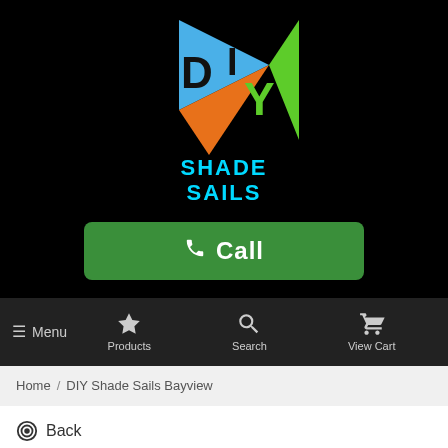[Figure (logo): DIY Shade Sails logo with colorful triangles (blue, green, orange) forming a kite/sail shape with bold letters D, I, Y overlaid]
SHADE
SAILS
Call
Menu  Products  Search  View Cart
Home / DIY Shade Sails Bayview
Back
DIY Shade Sails Bayview NT